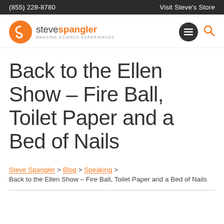(855) 228-8780   Visit Steve's Store
[Figure (logo): Steve Spangler Science logo with orange circle containing stylized S, and text 'stevespangler AMAZING SCIENCE EXPERIENCES']
Back to the Ellen Show – Fire Ball, Toilet Paper and a Bed of Nails
Steve Spangler > Blog > Speaking > Back to the Ellen Show – Fire Ball, Toilet Paper and a Bed of Nails